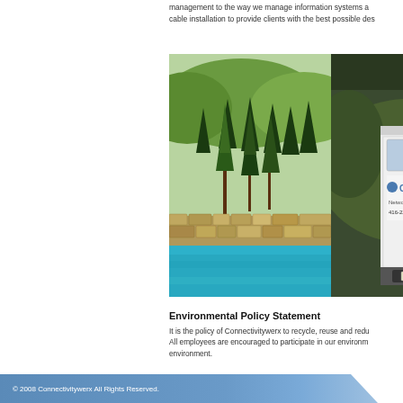management to the way we manage information systems a... cable installation to provide clients with the best possible des...
[Figure (photo): Nature scene with evergreen trees and turquoise river with stone wall]
[Figure (photo): Back of a white Connectivitywerx company van showing logo and phone number 416-222-0617]
Environmental Policy Statement
It is the policy of Connectivitywerx to recycle, reuse and redu... All employees are encouraged to participate in our environm... environment.
© 2008 Connectivitywerx All Rights Reserved.